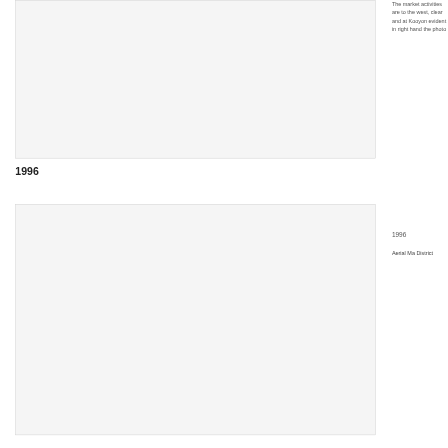[Figure (photo): Aerial photograph placeholder (top image) showing a district area]
1996
[Figure (photo): Aerial photograph placeholder (bottom image) for 1996 aerial map of the district]
The market activities are to the west, clear and at Kooyon evident in right hand the photo
1996
Aerial Ma District